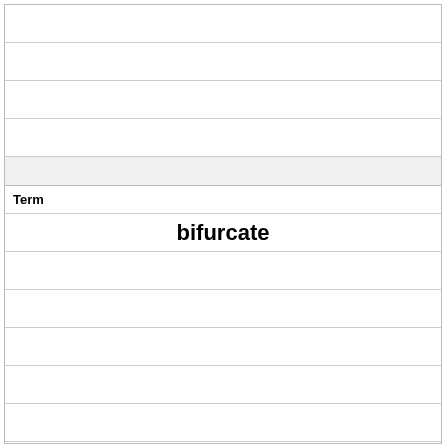Term
bifurcate
Definition
to cause to divide into two branches or parts